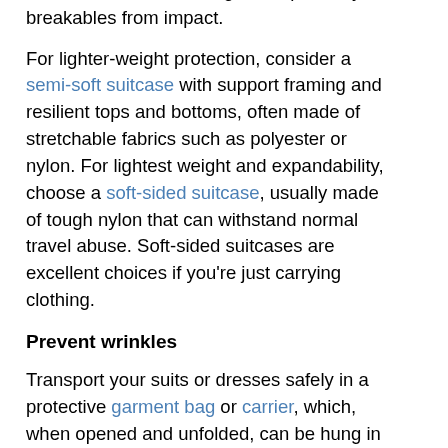sided suitcases are designed to protect your breakables from impact.
For lighter-weight protection, consider a semi-soft suitcase with support framing and resilient tops and bottoms, often made of stretchable fabrics such as polyester or nylon. For lightest weight and expandability, choose a soft-sided suitcase, usually made of tough nylon that can withstand normal travel abuse. Soft-sided suitcases are excellent choices if you're just carrying clothing.
Prevent wrinkles
Transport your suits or dresses safely in a protective garment bag or carrier, which, when opened and unfolded, can be hung in a closet.